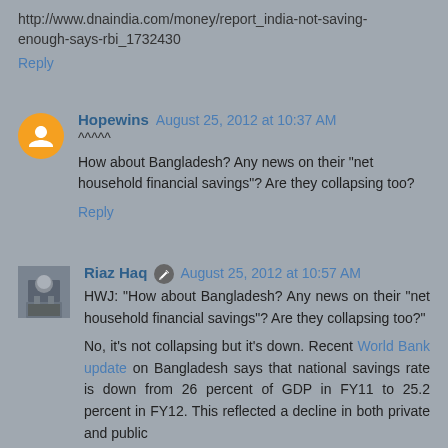http://www.dnaindia.com/money/report_india-not-saving-enough-says-rbi_1732430
Reply
Hopewins  August 25, 2012 at 10:37 AM
^^^^^
How about Bangladesh? Any news on their "net household financial savings"? Are they collapsing too?
Reply
Riaz Haq  August 25, 2012 at 10:57 AM
HWJ: "How about Bangladesh? Any news on their "net household financial savings"? Are they collapsing too?"
No, it's not collapsing but it's down. Recent World Bank update on Bangladesh says that national savings rate is down from 26 percent of GDP in FY11 to 25.2 percent in FY12. This reflected a decline in both private and public